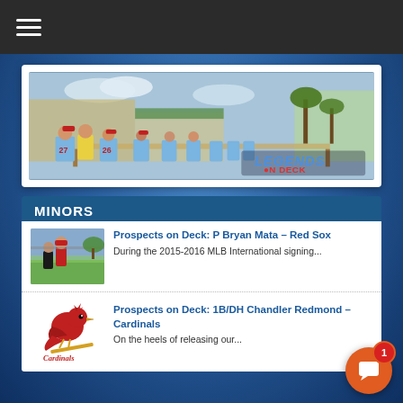[Figure (screenshot): Mobile app screenshot showing a sports news page. Top dark bar with hamburger menu. Hero image of baseball players in light blue jerseys sitting at tables with Legends On Deck logo. MINORS section header in dark blue. Two news items: Prospects on Deck: P Bryan Mata – Red Sox and Prospects on Deck: 1B/DH Chandler Redmond – Cardinals. Orange chat bubble with badge showing '1'.]
[Figure (photo): Hero photo: baseball players in light blue jerseys numbered 27 and 26 sitting at long tables, back view, with Legends On Deck logo overlay in bottom right.]
MINORS
Prospects on Deck: P Bryan Mata – Red Sox
During the 2015-2016 MLB International signing...
Prospects on Deck: 1B/DH Chandler Redmond – Cardinals
On the heels of releasing our...